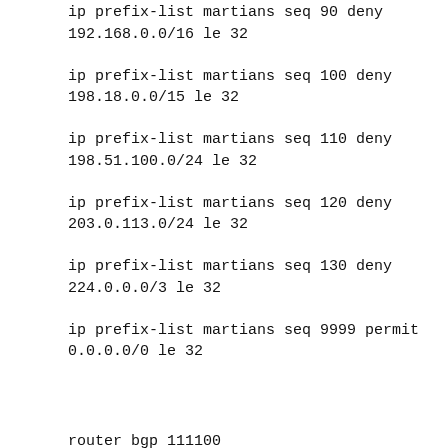ip prefix-list martians seq 90 deny 192.168.0.0/16 le 32
ip prefix-list martians seq 100 deny 198.18.0.0/15 le 32
ip prefix-list martians seq 110 deny 198.51.100.0/24 le 32
ip prefix-list martians seq 120 deny 203.0.113.0/24 le 32
ip prefix-list martians seq 130 deny 224.0.0.0/3 le 32
ip prefix-list martians seq 9999 permit 0.0.0.0/0 le 32
router bgp 111100